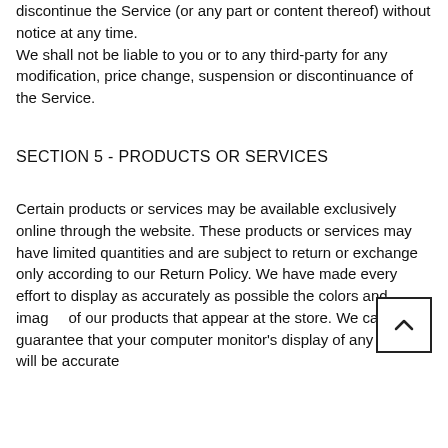discontinue the Service (or any part or content thereof) without notice at any time. We shall not be liable to you or to any third-party for any modification, price change, suspension or discontinuance of the Service.
SECTION 5 - PRODUCTS OR SERVICES
Certain products or services may be available exclusively online through the website. These products or services may have limited quantities and are subject to return or exchange only according to our Return Policy. We have made every effort to display as accurately as possible the colors and images of our products that appear at the store. We cannot guarantee that your computer monitor's display of any color will be accurate